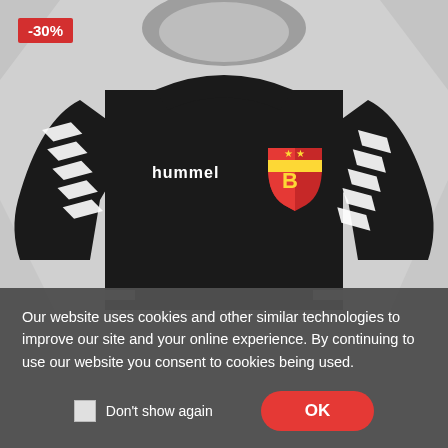[Figure (photo): Black Hummel hoodie with white chevron stripes on sleeves and FC Basel (B) club crest badge on chest, displayed on a light grey background. A red discount badge showing -30% appears in the top left corner.]
Our website uses cookies and other similar technologies to improve our site and your online experience. By continuing to use our website you consent to cookies being used.
Don't show again
OK